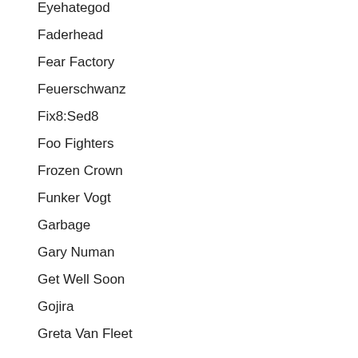Eyehategod
Faderhead
Fear Factory
Feuerschwanz
Fix8:Sed8
Foo Fighters
Frozen Crown
Funker Vogt
Garbage
Gary Numan
Get Well Soon
Gojira
Greta Van Fleet